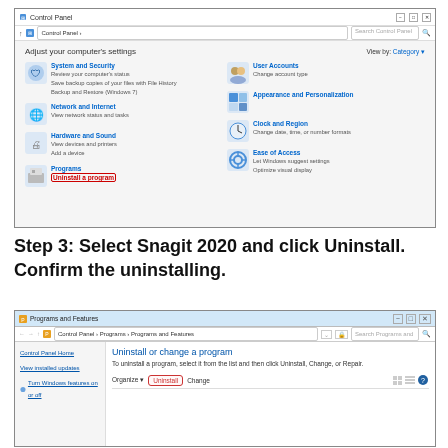[Figure (screenshot): Windows Control Panel screenshot showing categories: System and Security, Network and Internet, Hardware and Sound, Programs (with 'Uninstall a program' highlighted in red), User Accounts, Appearance and Personalization, Clock and Region, Ease of Access]
Step 3: Select Snagit 2020 and click Uninstall. Confirm the uninstalling.
[Figure (screenshot): Windows Programs and Features (Control Panel > Programs > Programs and Features) showing 'Uninstall or change a program' heading, left sidebar with Control Panel Home, View installed updates, Turn Windows features on or off, and toolbar with Uninstall (highlighted in red oval) and Change buttons.]